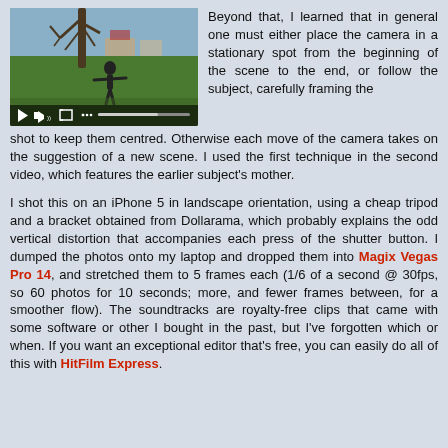[Figure (screenshot): Video player showing a person standing in a park with arms outstretched, with playback controls at the bottom including play, volume, fullscreen, and more-options icons, and a progress bar.]
Beyond that, I learned that in general one must either place the camera in a stationary spot from the beginning of the scene to the end, or follow the subject, carefully framing the shot to keep them centred. Otherwise each move of the camera takes on the suggestion of a new scene. I used the first technique in the second video, which features the earlier subject's mother.
I shot this on an iPhone 5 in landscape orientation, using a cheap tripod and a bracket obtained from Dollarama, which probably explains the odd vertical distortion that accompanies each press of the shutter button. I dumped the photos onto my laptop and dropped them into Magix Vegas Pro 14, and stretched them to 5 frames each (1/6 of a second @ 30fps, so 60 photos for 10 seconds; more, and fewer frames between, for a smoother flow). The soundtracks are royalty-free clips that came with some software or other I bought in the past, but I've forgotten which or when. If you want an exceptional editor that's free, you can easily do all of this with HitFilm Express.